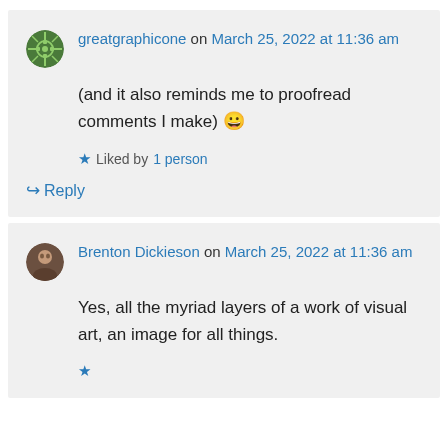greatgraphicone on March 25, 2022 at 11:36 am

(and it also reminds me to proofread comments I make) 😀

★ Liked by 1 person

↪ Reply
Brenton Dickieson on March 25, 2022 at 11:36 am

Yes, all the myriad layers of a work of visual art, an image for all things.